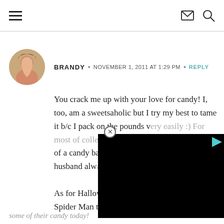Navigation header with hamburger menu, mail icon, and search icon
BRANDY · NOVEMBER 1, 2011 AT 1:29 PM · REPLY
You crack me up with your love for candy! I, too, am a sweetsaholic but I try my best to tame it b/c I pack on the pounds very easily :) For most of college I lived off of a candy ba... husband alw... As for Hallow... Spider Man t... some of their candy today!